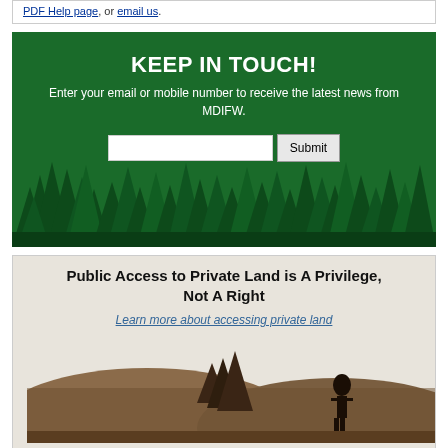PDF Help page, or email us.
[Figure (infographic): Green banner with text 'KEEP IN TOUCH!' and subscription form with email/mobile input and Submit button, decorated with dark green evergreen tree silhouettes at the bottom.]
Public Access to Private Land is A Privilege, Not A Right
Learn more about accessing private land
[Figure (illustration): Silhouette illustration of a person standing in a landscape with trees and hills in warm brown/sepia tones.]